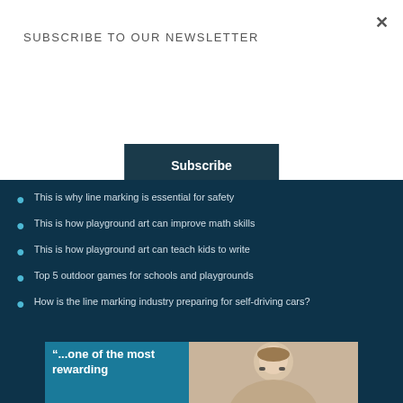SUBSCRIBE TO OUR NEWSLETTER
Subscribe
This is why line marking is essential for safety
This is how playground art can improve math skills
This is how playground art can teach kids to write
Top 5 outdoor games for schools and playgrounds
How is the line marking industry preparing for self-driving cars?
[Figure (photo): Promotional image with quote text '“...one of the most rewarding' overlaid on teal background beside a photo of a smiling woman with glasses and blonde hair.]